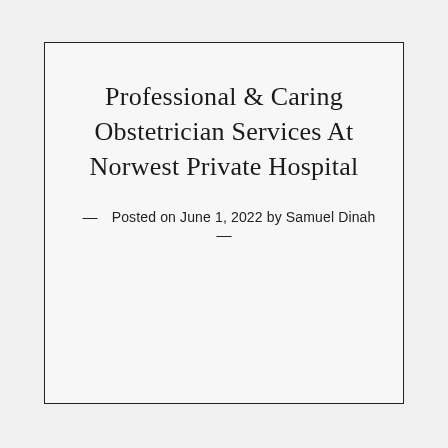Professional & Caring Obstetrician Services At Norwest Private Hospital
— Posted on June 1, 2022 by Samuel Dinah —